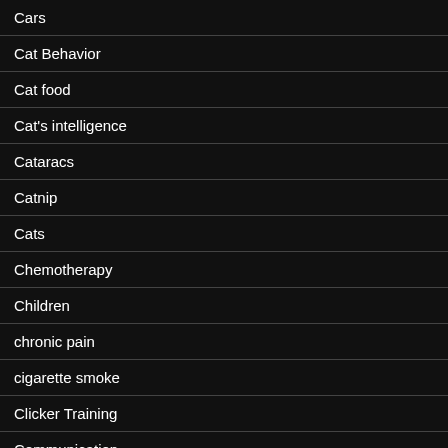Cars
Cat Behavior
Cat food
Cat's intelligence
Cataracs
Catnip
Cats
Chemotherapy
Children
chronic pain
cigarette smoke
Clicker Training
Communication